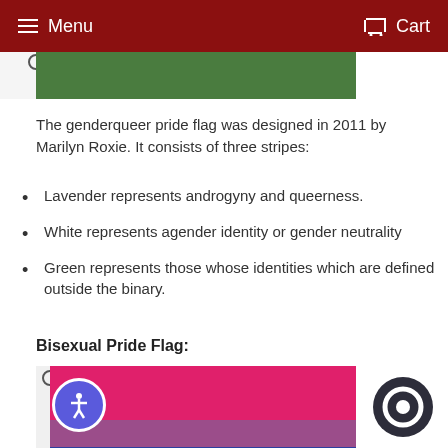Menu  Cart
[Figure (photo): Partial view of genderqueer pride flag showing a green stripe at the top]
The genderqueer pride flag was designed in 2011 by Marilyn Roxie. It consists of three stripes:
Lavender represents androgyny and queerness.
White represents agender identity or gender neutrality
Green represents those whose identities which are defined outside the binary.
Bisexual Pride Flag:
[Figure (photo): Bisexual pride flag with pink top stripe, purple middle stripe, and blue bottom stripe]